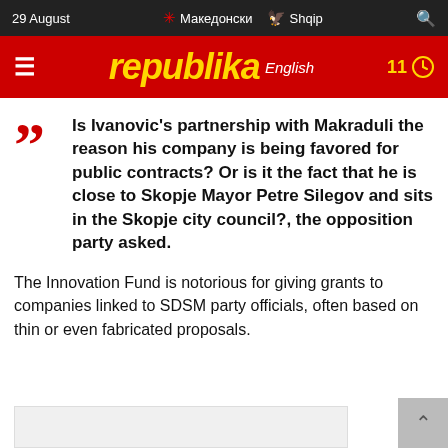29 August   Македонски   Shqip
Republika English   11
Is Ivanovic's partnership with Makraduli the reason his company is being favored for public contracts? Or is it the fact that he is close to Skopje Mayor Petre Silegov and sits in the Skopje city council?, the opposition party asked.
The Innovation Fund is notorious for giving grants to companies linked to SDSM party officials, often based on thin or even fabricated proposals.